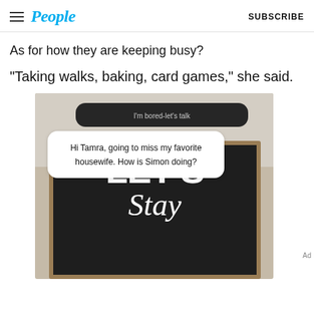People | SUBSCRIBE
As for how they are keeping busy?
“Taking walks, baking, card games,” she said.
[Figure (screenshot): Screenshot showing an Instagram or social media story interaction with a dark rounded rectangle bubble reading 'I'm bored-let's talk' and a white rounded rectangle bubble with text: 'Hi Tamra, going to miss my favorite housewife. How is Simon doing?' Below is a photo of a dark wooden sign reading 'LET'S Stay']
Ad